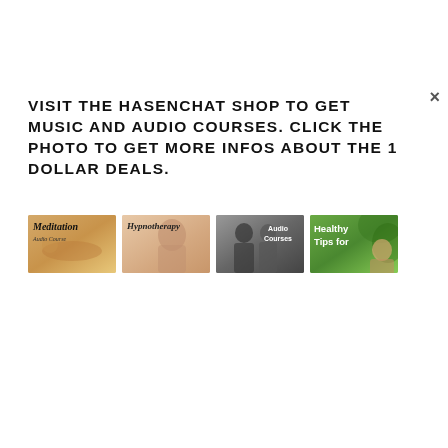VISIT THE HASENCHAT SHOP TO GET MUSIC AND AUDIO COURSES. CLICK THE PHOTO TO GET MORE INFOS ABOUT THE 1 DOLLAR DEALS.
[Figure (illustration): Four thumbnail images in a row: Meditation, Hypnotherapy, Audio Courses, Healthy Tips for...]